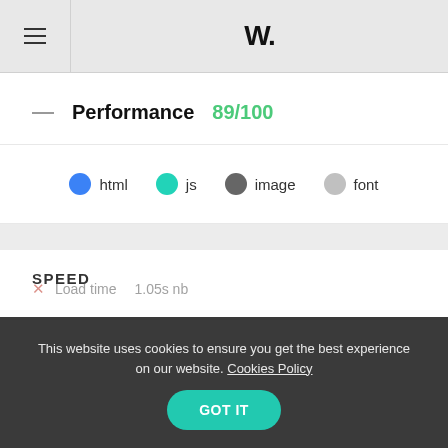W.
Performance 89/100
[Figure (infographic): Legend showing four colored circles labeled html (blue), js (teal), image (dark gray), font (light gray)]
SPEED
Load time  1.05s nb
This website uses cookies to ensure you get the best experience on our website. Cookies Policy  GOT IT